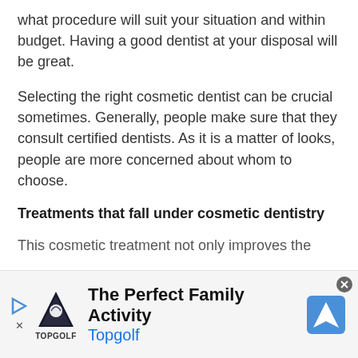what procedure will suit your situation and within budget. Having a good dentist at your disposal will be great.
Selecting the right cosmetic dentist can be crucial sometimes. Generally, people make sure that they consult certified dentists. As it is a matter of looks, people are more concerned about whom to choose.
Treatments that fall under cosmetic dentistry
This cosmetic treatment not only improves the
[Figure (screenshot): Advertisement banner for Topgolf showing 'The Perfect Family Activity' with Topgolf logo and navigation icon]